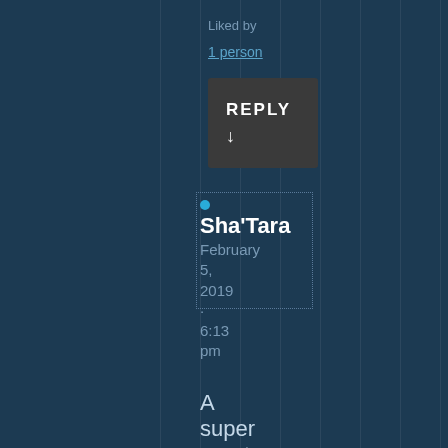Liked by
1 person
REPLY ↓
Sha'Tara
February 5, 2019 · 6:13 pm
A super great comment!